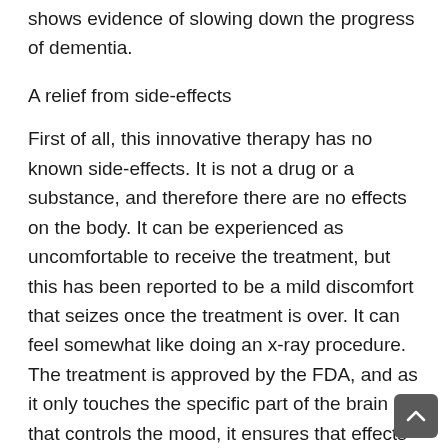shows evidence of slowing down the progress of dementia.
A relief from side-effects
First of all, this innovative therapy has no known side-effects. It is not a drug or a substance, and therefore there are no effects on the body. It can be experienced as uncomfortable to receive the treatment, but this has been reported to be a mild discomfort that seizes once the treatment is over. It can feel somewhat like doing an x-ray procedure. The treatment is approved by the FDA, and as it only touches the specific part of the brain that controls the mood, it ensures that effects on the mind as a whole do not happen.